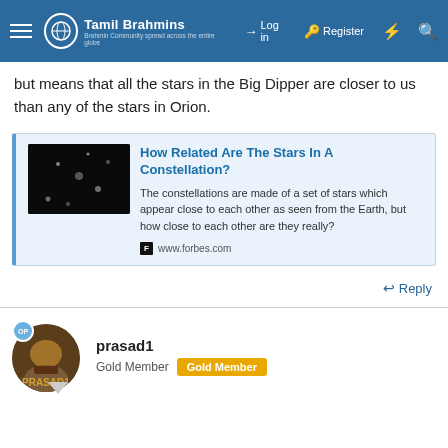Tamil Brahmins — Log in | Register
but means that all the stars in the Big Dipper are closer to us than any of the stars in Orion.
[Figure (screenshot): Link card for Forbes article titled 'How Related Are The Stars In A Constellation?' with thumbnail, description, and www.forbes.com source icon.]
Reply
prasad1
Gold Member  Gold Member